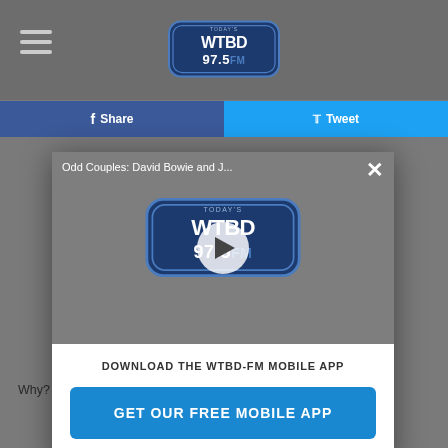[Figure (screenshot): WTBD 97.5 FM radio station website screenshot showing navigation bar with hamburger menu and station logo]
[Figure (screenshot): Video player popup showing 'Odd Couples: David Bowie and J...' title with WTBD 97.5 FM logo and play button, with close X button]
DOWNLOAD THE WTBD-FM MOBILE APP
GET OUR FREE MOBILE APP
Why? Because it would have cost him $20 million. No thanks!